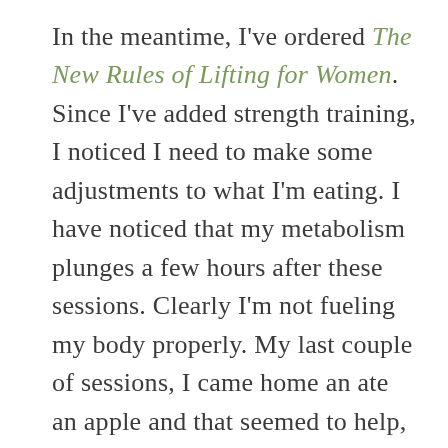In the meantime, I've ordered The New Rules of Lifting for Women. Since I've added strength training, I noticed I need to make some adjustments to what I'm eating. I have noticed that my metabolism plunges a few hours after these sessions. Clearly I'm not fueling my body properly. My last couple of sessions, I came home an ate an apple and that seemed to help, but I need to really work in more protein. Problem is, protein is a high point item on Weight Watchers. So I